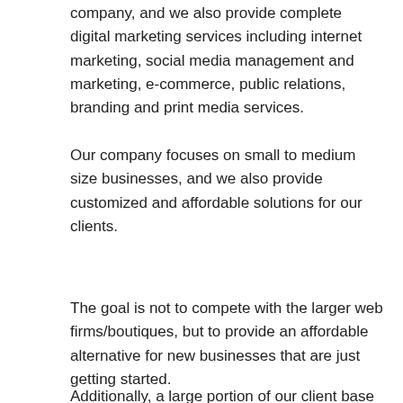company, and we also provide complete digital marketing services including internet marketing, social media management and marketing, e-commerce, public relations, branding and print media services.
Our company focuses on small to medium size businesses, and we also provide customized and affordable solutions for our clients.
The goal is not to compete with the larger web firms/boutiques, but to provide an affordable alternative for new businesses that are just getting started.
Additionally, a large portion of our client base consists of businesses who had